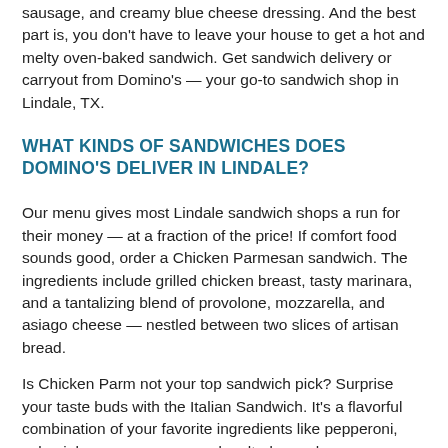sausage, and creamy blue cheese dressing. And the best part is, you don't have to leave your house to get a hot and melty oven-baked sandwich. Get sandwich delivery or carryout from Domino's — your go-to sandwich shop in Lindale, TX.
WHAT KINDS OF SANDWICHES DOES DOMINO'S DELIVER IN LINDALE?
Our menu gives most Lindale sandwich shops a run for their money — at a fraction of the price! If comfort food sounds good, order a Chicken Parmesan sandwich. The ingredients include grilled chicken breast, tasty marinara, and a tantalizing blend of provolone, mozzarella, and asiago cheese — nestled between two slices of artisan bread.
Is Chicken Parm not your top sandwich pick? Surprise your taste buds with the Italian Sandwich. It's a flavorful combination of your favorite ingredients like pepperoni, salami, banana peppers, and melted provolone on oven-toasted bread. It's savory, packed with cheese, and the perfect pinch of spicy.
Going meatless? You won't be hungry for long with the Mediterranean Sandwich with roasted eggplant...